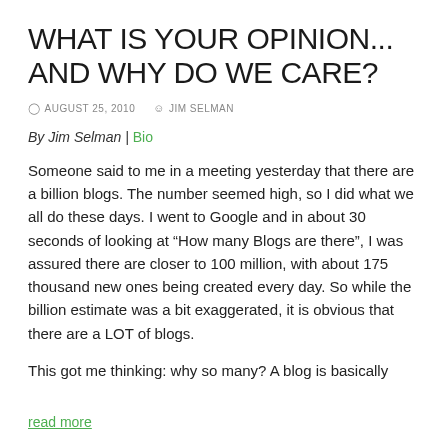WHAT IS YOUR OPINION... AND WHY DO WE CARE?
AUGUST 25, 2010  JIM SELMAN
By Jim Selman | Bio
Someone said to me in a meeting yesterday that there are a billion blogs. The number seemed high, so I did what we all do these days. I went to Google and in about 30 seconds of looking at “How many Blogs are there”, I was assured there are closer to 100 million, with about 175 thousand new ones being created every day. So while the billion estimate was a bit exaggerated, it is obvious that there are a LOT of blogs.
This got me thinking: why so many? A blog is basically
read more